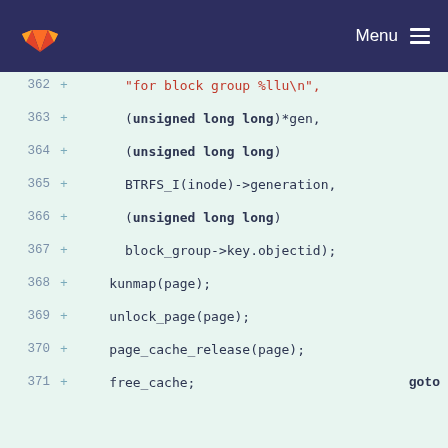[Figure (screenshot): GitLab navigation bar with logo and Menu button]
Code diff view showing lines 362-371 of a C source file with added lines (+) containing code: "for block group %llu\n", (unsigned long long)*gen, (unsigned long long) BTRFS_I(inode)->generation, (unsigned long long) block_group->key.objectid); kunmap(page); unlock_page(page); page_cache_release(page); goto free_cache;